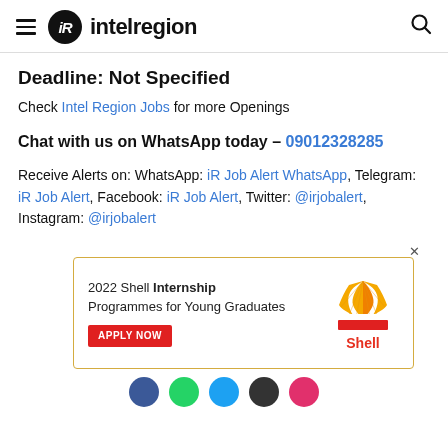intelregion
Deadline: Not Specified
Check Intel Region Jobs for more Openings
Chat with us on WhatsApp today – 09012328285
Receive Alerts on: WhatsApp: iR Job Alert WhatsApp, Telegram: iR Job Alert, Facebook: iR Job Alert, Twitter: @irjobalert, Instagram: @irjobalert
[Figure (infographic): Advertisement box with yellow border: '2022 Shell Internship Programmes for Young Graduates' with a red APPLY NOW button and the Shell logo on the right.]